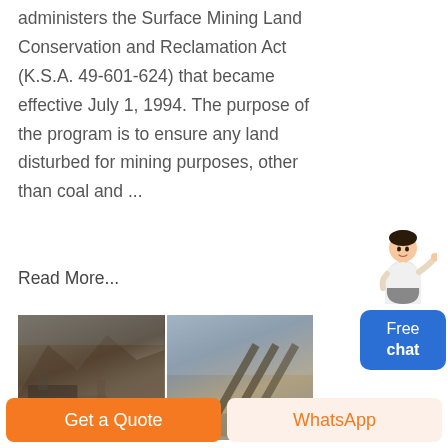administers the Surface Mining Land Conservation and Reclamation Act (K.S.A. 49-601-624) that became effective July 1, 1994. The purpose of the program is to ensure any land disturbed for mining purposes, other than coal and ...
Read More...
[Figure (photo): Two side-by-side photos of open-pit or surface mining operations with heavy machinery and equipment]
Get a Quote
WhatsApp